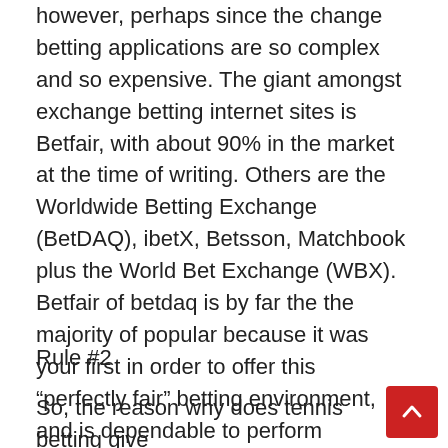however, perhaps since the change betting applications are so complex and so expensive. The giant amongst exchange betting internet sites is Betfair, with about 90% in the market at the time of writing. Others are the Worldwide Betting Exchange (BetDAQ), ibetX, Betsson, Matchbook plus the World Bet Exchange (WBX). Betfair of betdaq is by far the the majority of popular because it was your first in order to offer this “perfectly fair” betting environment, and is dependable to perform effectively and instantly.
Rule #2
So, the reason why does tennis betting give